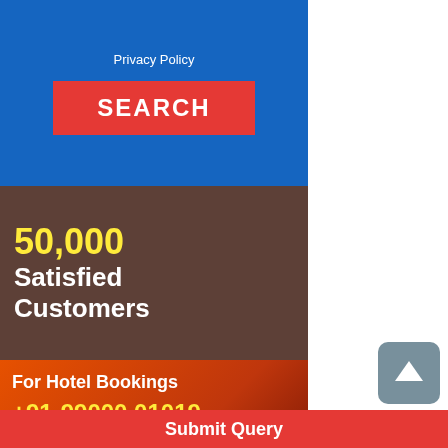[Figure (screenshot): Blue background section with Privacy Policy link and red SEARCH button]
[Figure (infographic): 50,000 Satisfied Customers banner with brown/dark background]
[Figure (infographic): Hotel Bookings contact banner on orange-red background with telephone image, phone numbers +91-99000 01019 and +91-96322 80788, (10 am - 9pm IST)]
[Figure (infographic): All Major Credit/Debit Cards Accepted banner showing Visa, MasterCard, and Diners Club International logos]
[Figure (screenshot): Manali Hotels teal strip partially visible at bottom]
Submit Query
[Figure (other): Gray scroll-to-top button with upward arrow on right side]